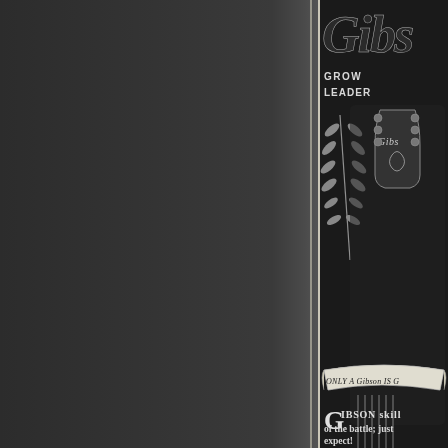[Figure (illustration): Partial view of a vintage Gibson guitar advertisement. The right portion of the page shows a dark advertisement with the Gibson brand name in large italic script at the top, followed by text 'GROWING' and 'LEADER'. Below is an illustration of a Gibson guitar with decorative laurel branches and a banner reading 'ONLY A Gibson IS G...' (text cut off). At the bottom of the visible portion, advertising copy reads: 'GIBSON skill [cut off] of the battle; just [cut off] expect! The true test o[cut off]'. The left two-thirds of the page shows a dark gray area representing the spine/edge of a book or magazine.]
GIBSON skill [partial] of the battle; just [partial] expect! The true test o[partial]